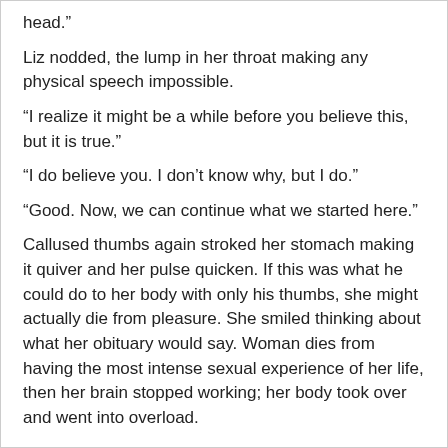head.”
Liz nodded, the lump in her throat making any physical speech impossible.
“I realize it might be a while before you believe this, but it is true.”
“I do believe you. I don’t know why, but I do.”
“Good. Now, we can continue what we started here.”
Callused thumbs again stroked her stomach making it quiver and her pulse quicken. If this was what he could do to her body with only his thumbs, she might actually die from pleasure. She smiled thinking about what her obituary would say. Woman dies from having the most intense sexual experience of her life, then her brain stopped working; her body took over and went into overload.
~~~~~~~~~~~~~~~~~~~
Marie Rose Dufour grew up reading romances. She secretly attributes, or blames, her mother who would